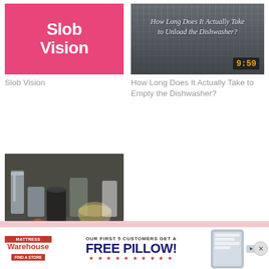[Figure (illustration): Pink background image with bold white text reading 'Slob Vision']
Slob Vision
[Figure (photo): Photo of dishwasher racks with overlay text 'How Long Does It Actually Take to Unload the Dishwasher?' and a digital clock showing 9:59]
How Long Does It Actually Take to Empty the Dishwasher?
[Figure (photo): Photo of a messy pile of dishes and cups in a sink]
Letting Rhythm Rule
[Figure (other): Mattress Warehouse advertisement banner: 'OUR FIRST 5 CUSTOMERS GET A FREE PILLOW! FIND A STORE' with star rating row]